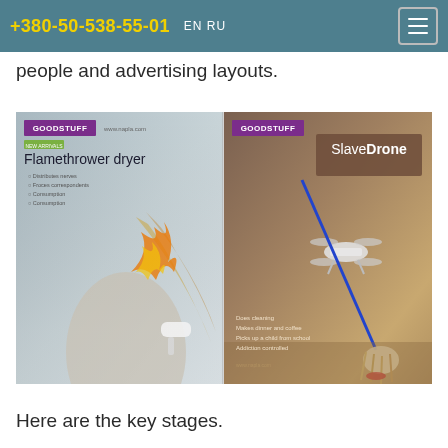+380-50-538-55-01  EN RU
people and advertising layouts.
[Figure (illustration): Two side-by-side advertising mockup posters. Left: GOODSTUFF branded poster titled 'Flamethrower dryer' with a woman holding a hair dryer with fire effects. Right: GOODSTUFF branded poster titled 'SlaveDrone' with a drone holding a mop, features listed: Does cleaning, Makes dinner and coffee, Picks up a child from school, Addiction controlled.]
Here are the key stages.